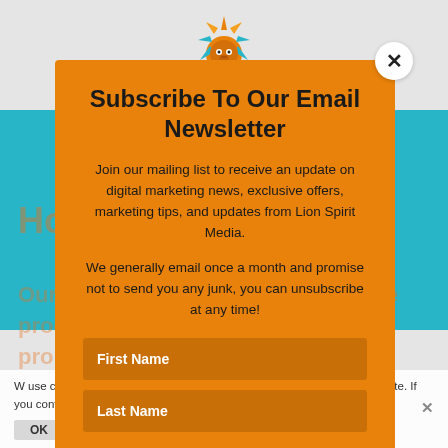[Figure (logo): Lion Spirit Media logo - stylized lion with colorful mane, teal and orange colors]
Subscribe To Our Email Newsletter
Join our mailing list to receive an update on digital marketing news, exclusive offers, marketing tips, and updates from Lion Spirit Media.
We generally email once a month and promise not to send you any junk, you can unsubscribe at any time!
First Name
Last Name
We use cookies to ensure that we give you the best experience on our website. If you continue to use this site we will assume that you are happy with it.
OK   Privacy policy